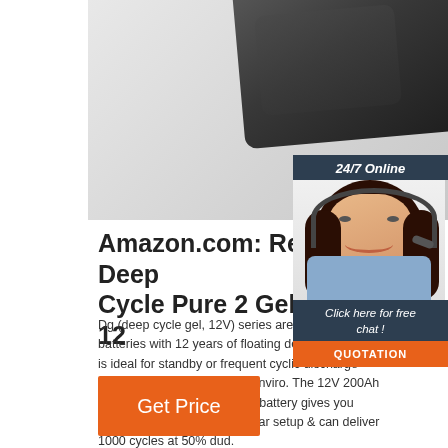[Figure (photo): Product photo of a dark/black Renogy deep cycle gel battery on a light gray background]
[Figure (infographic): Chat widget overlay showing '24/7 Online' header, photo of a woman with headset smiling, 'Click here for free chat!' text, and an orange QUOTATION button]
Amazon.com: Renogy Deep Cycle Pure 2 Gel Battery 12
Dg (deep cycle gel, 12V) series are pure Ge batteries with 12 years of floating design life. series is ideal for standby or frequent cyclic discharge applications under extreme enviro. The 12V 200Ah Renogy deep cycle pure Gel battery gives you maximum storage for any solar setup & can deliver 1000 cycles at 50% dud.
Get Price